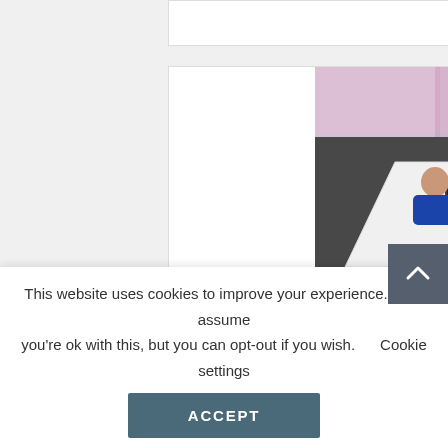[Figure (photo): Office scene with six people sitting around a white table working on laptops, viewed from above at an angle. Colorful pink/purple windows visible in background. Office chairs with orange accents.]
Project Manager Digibanken
Mar 15, 2022 | Job opportunities |
This website uses cookies to improve your experience. We'll assume you're ok with this, but you can opt-out if you wish.    Cookie settings
ACCEPT